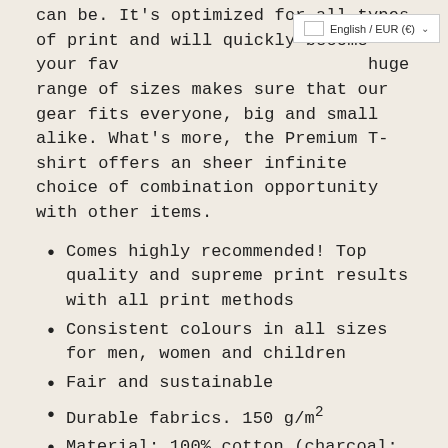English / EUR (€)
can be. It's optimized for all types of print and will quickly become your fav… huge range of sizes makes sure that our gear fits everyone, big and small alike. What's more, the Premium T-shirt offers an sheer infinite choice of combination opportunity with other items.
Comes highly recommended! Top quality and supreme print results with all print methods
Consistent colours in all sizes for men, women and children
Fair and sustainable
Durable fabrics. 150 g/m²
Material: 100% cotton (charcoal: 50% cotton, 50% polyester; heather blue: 50% cotton,